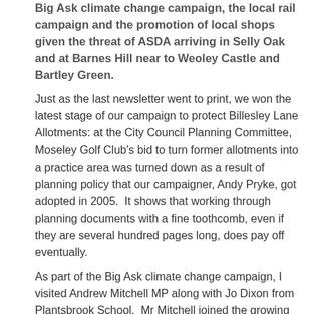Big Ask climate change campaign, the local rail campaign and the promotion of local shops given the threat of ASDA arriving in Selly Oak and at Barnes Hill near to Weoley Castle and Bartley Green.
Just as the last newsletter went to print, we won the latest stage of our campaign to protect Billesley Lane Allotments: at the City Council Planning Committee, Moseley Golf Club's bid to turn former allotments into a practice area was turned down as a result of planning policy that our campaigner, Andy Pryke, got adopted in 2005.  It shows that working through planning documents with a fine toothcomb, even if they are several hundred pages long, does pay off eventually.
As part of the Big Ask climate change campaign, I visited Andrew Mitchell MP along with Jo Dixon from Plantsbrook School.  Mr Mitchell joined the growing list of MPs who are supporting a stronger climate change